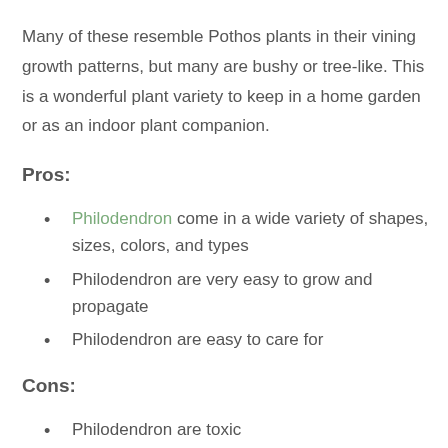Many of these resemble Pothos plants in their vining growth patterns, but many are bushy or tree-like. This is a wonderful plant variety to keep in a home garden or as an indoor plant companion.
Pros:
Philodendron come in a wide variety of shapes, sizes, colors, and types
Philodendron are very easy to grow and propagate
Philodendron are easy to care for
Cons:
Philodendron are toxic